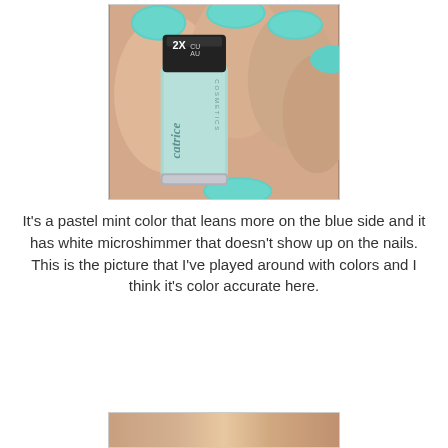[Figure (photo): A hand holding a Catrice Cosmetics nail polish bottle. The nails are painted a pastel mint/teal color. The bottle label reads 'catrice COSMETICS' and shows '2X' at the top. The background shows skin tones of the hand.]
It's a pastel mint color that leans more on the blue side and it has white microshimmer that doesn't show up on the nails. This is the picture that I've played around with colors and I think it's color accurate here.
[Figure (photo): Partial view of another photo at the bottom of the page, showing skin tones — appears to be a cropped nail/hand photo.]